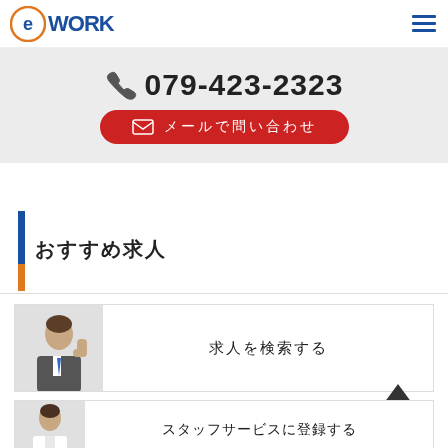eWork logo and navigation
[Figure (infographic): Phone number banner with 079-423-2323 and a red contact button with mail icon and Japanese text]
（Japanese text - section title）
[Figure (photo): Business man with fist raised, card with Japanese text]
PAGE TOP
[Figure (photo): Business man in suit, card with Japanese text (partially visible)]